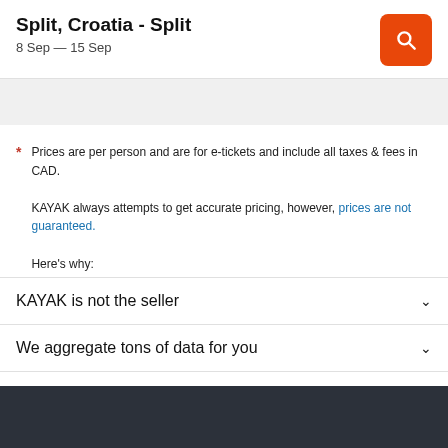Split, Croatia - Split
8 Sep — 15 Sep
Prices are per person and are for e-tickets and include all taxes & fees in CAD.

KAYAK always attempts to get accurate pricing, however, prices are not guaranteed.

Here's why:
KAYAK is not the seller
We aggregate tons of data for you
Why aren't prices 100% accurate?